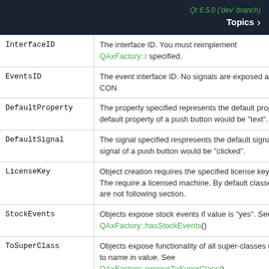Qt 6.5.0 ('dev' branch) Topics
| Key | Description |
| --- | --- |
| InterfaceID | The interface ID. You must reimplement QAxFactory::i specified. |
| EventsID | The event interface ID. No signals are exposed as CON |
| DefaultProperty | The property specified represents the default propert default property of a push button would be "text". |
| DefaultSignal | The signal specified respresents the default signal of signal of a push button would be "clicked". |
| LicenseKey | Object creation requires the specified license key. The require a licensed machine. By default classes are not following section. |
| StockEvents | Objects expose stock events if value is "yes". See QAxFactory::hasStockEvents() |
| ToSuperClass | Objects expose functionality of all super-classes up to name in value. See QAxFactory::exposeToSuperClass() |
| Insertable | If the value is "yes" the class is registered to be "Inse OLE 2 containers (ie. Microsoft Office). This attribute |